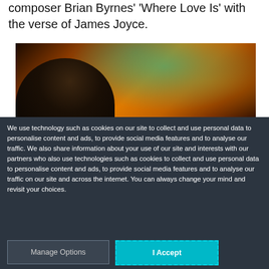composer Brian Byrnes' 'Where Love Is' with the verse of James Joyce.
[Figure (photo): A person's head silhouetted against a vibrant abstract background of swirling orange and teal/green light energy forms.]
We use technology such as cookies on our site to collect and use personal data to personalise content and ads, to provide social media features and to analyse our traffic. We also share information about your use of our site and interests with our partners who also use technologies such as cookies to collect and use personal data to personalise content and ads, to provide social media features and to analyse our traffic on our site and across the internet. You can always change your mind and revisit your choices.
Manage Options
I Accept